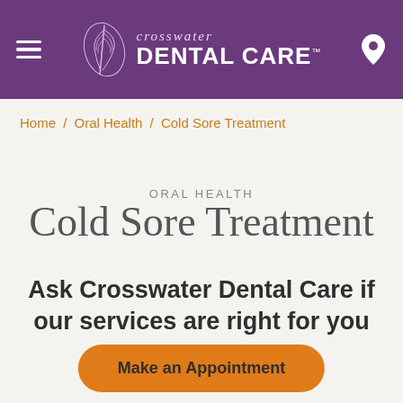[Figure (logo): Crosswater Dental Care logo with feather graphic on purple header bar with hamburger menu and location pin icon]
Home / Oral Health / Cold Sore Treatment
ORAL HEALTH
Cold Sore Treatment
Ask Crosswater Dental Care if our services are right for you
Make an Appointment